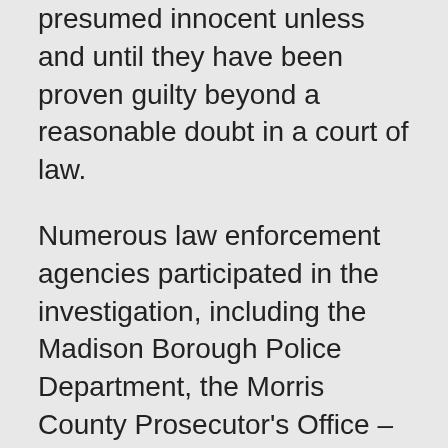presumed innocent unless and until they have been proven guilty beyond a reasonable doubt in a court of law.
Numerous law enforcement agencies participated in the investigation, including the Madison Borough Police Department, the Morris County Prosecutor's Office – Major Crimes Unit, and the Morris County Sheriff's Office.
Anyone with further information about this incident is urged to call the Madison Police Department at 973-593-3000 or the Morris County Prosecutor's Office at 973-285-6200. Anonymous calls can also be made to the Morris County Sheriff's CrimeStoppers at 973-